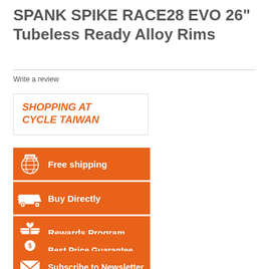SPANK SPIKE RACE28 EVO 26" Tubeless Ready Alloy Rims
Write a review
[Figure (infographic): Shopping at Cycle Taiwan promotional banner with orange background buttons listing: Free shipping, Buy Directly, Rewards Program, Best Price Guarantee, Subscribe to Newsletter]
SHOPPING AT CYCLE TAIWAN
Free shipping
Buy Directly
Rewards Program
Best Price Guarantee
Subscribe to Newsletter